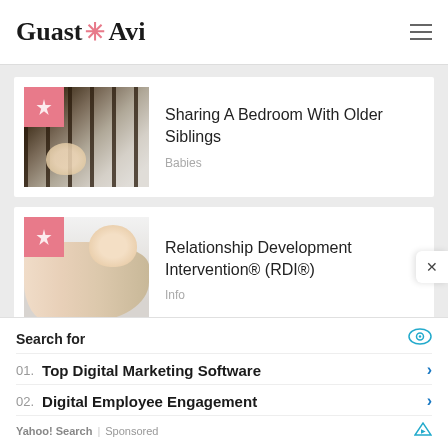Guast Avi
[Figure (photo): Baby looking through dark crib bars]
Sharing A Bedroom With Older Siblings
Babies
[Figure (photo): Baby lying on its back looking up]
Relationship Development Intervention® (RDI®)
Info
Search for
01. Top Digital Marketing Software
02. Digital Employee Engagement
Yahoo! Search | Sponsored